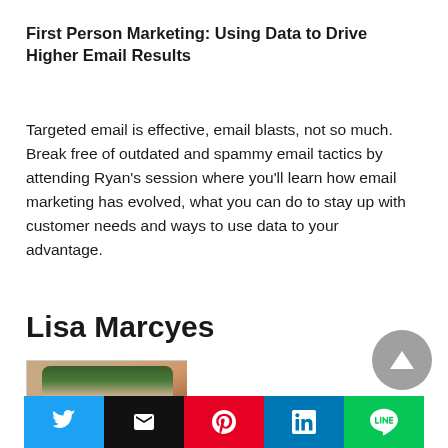First Person Marketing: Using Data to Drive Higher Email Results
Targeted email is effective, email blasts, not so much. Break free of outdated and spammy email tactics by attending Ryan's session where you'll learn how email marketing has evolved, what you can do to stay up with customer needs and ways to use data to your advantage.
Lisa Marcyes
[Figure (photo): Headshot photo of Lisa Marcyes, a woman with shoulder-length reddish-blonde hair, smiling, against a green foliage background]
Social sharing bar with Twitter, Email, Pinterest, LinkedIn, and LINE buttons